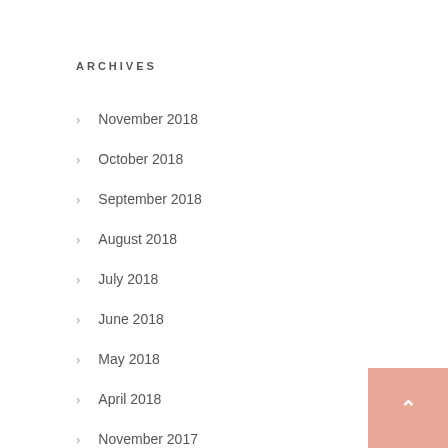ARCHIVES
November 2018
October 2018
September 2018
August 2018
July 2018
June 2018
May 2018
April 2018
November 2017
October 2017